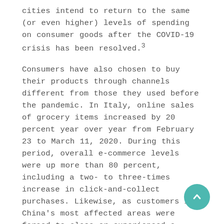cities intend to return to the same (or even higher) levels of spending on consumer goods after the COVID-19 crisis has been resolved.³
Consumers have also chosen to buy their products through channels different from those they used before the pandemic. In Italy, online sales of grocery items increased by 20 percent year over year from February 23 to March 11, 2020. During this period, overall e-commerce levels were up more than 80 percent, including a two- to three-times increase in click-and-collect purchases. Likewise, as customers in China's most affected areas were forced to close or experienced a reduction of up to 70 percent foot traffic, the country's already high e-commerce sales have risen. For example,